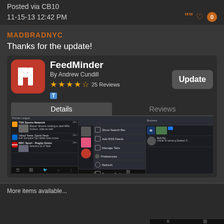Posted via CB10
11-15-13 12:42 PM
MADBRADNYC
Thanks for the update!
[Figure (screenshot): FeedMinder app card showing app icon, name 'FeedMinder', 'By Andrew Cundill', 4.5 star rating, 25 Reviews, Update button, Details/Reviews tabs, and three app screenshots]
More items available...